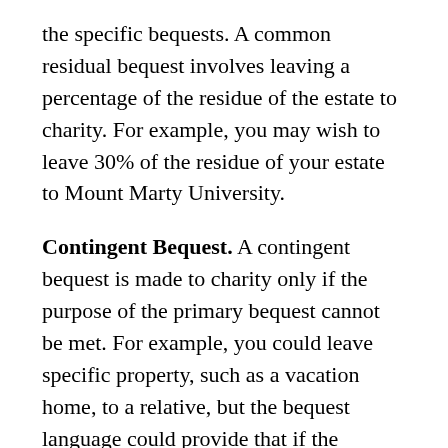the specific bequests. A common residual bequest involves leaving a percentage of the residue of the estate to charity. For example, you may wish to leave 30% of the residue of your estate to Mount Marty University.
Contingent Bequest. A contingent bequest is made to charity only if the purpose of the primary bequest cannot be met. For example, you could leave specific property, such as a vacation home, to a relative, but the bequest language could provide that if the relative is not alive at the time of your death, the vacation home will go to